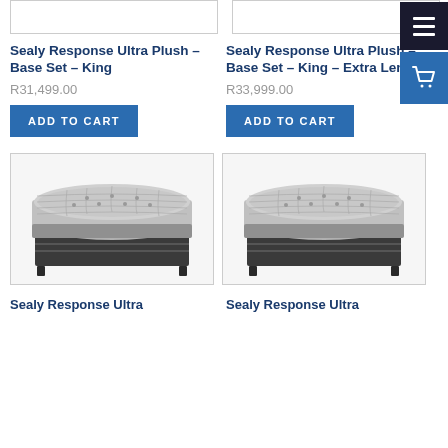[Figure (photo): Top portion of a Sealy mattress product image (cropped), left column]
[Figure (photo): Top portion of a Sealy mattress product image (cropped), right column]
Sealy Response Ultra Plush – Base Set – King
R31,499.00
ADD TO CART
Sealy Response Ultra Plush – Base Set – King – Extra Length
R33,999.00
ADD TO CART
[Figure (photo): Sealy Response Ultra Plush mattress base set, king size, grey quilted top with dark base]
[Figure (photo): Sealy Response Ultra Plush mattress base set, king size extra length, grey quilted top with dark base]
Sealy Response Ultra
Sealy Response Ultra